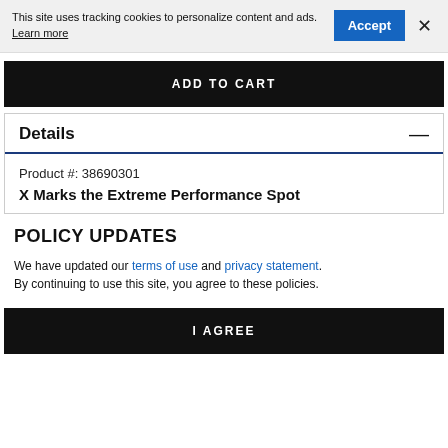This site uses tracking cookies to personalize content and ads. Learn more
ADD TO CART
Details
Product #: 38690301
X Marks the Extreme Performance Spot
POLICY UPDATES
We have updated our terms of use and privacy statement. By continuing to use this site, you agree to these policies.
I AGREE